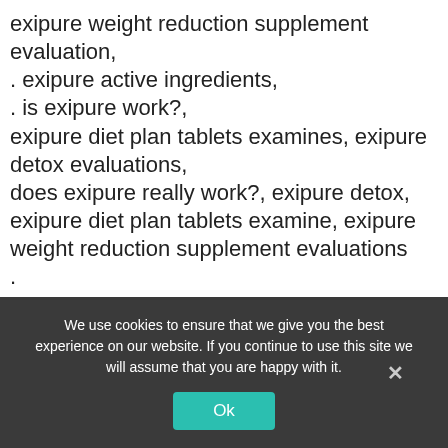exipure weight reduction supplement evaluation,
. exipure active ingredients,
. is exipure work?,
exipure diet plan tablets examines, exipure detox evaluations,
does exipure really work?, exipure detox,
exipure diet plan tablets examine, exipure weight reduction supplement evaluations
.
EXIPURE -Exipure REVIEW (I HAVE IMPORTANT INFORMATION) Exipure Weigth Loss- Exipure Fat burn tablets
EXIPURE -Exipure REVIEW( I HAVE IMPORTANT
We use cookies to ensure that we give you the best experience on our website. If you continue to use this site we will assume that you are happy with it.